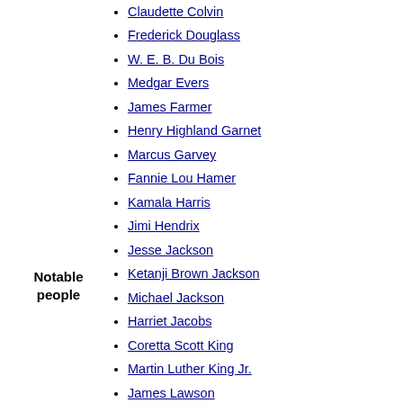Notable people
Claudette Colvin
Frederick Douglass
W. E. B. Du Bois
Medgar Evers
James Farmer
Henry Highland Garnet
Marcus Garvey
Fannie Lou Hamer
Kamala Harris
Jimi Hendrix
Jesse Jackson
Ketanji Brown Jackson
Michael Jackson
Harriet Jacobs
Coretta Scott King
Martin Luther King Jr.
James Lawson
Huddie Ledbetter
John Lewis
Joseph Lowery
Malcolm X
Thurgood Marshall
Toni Morrison
Bob Moses
Diane Nash
Barack Obama